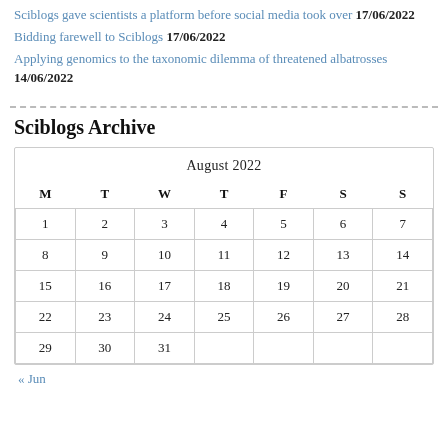Sciblogs gave scientists a platform before social media took over 17/06/2022
Bidding farewell to Sciblogs 17/06/2022
Applying genomics to the taxonomic dilemma of threatened albatrosses 14/06/2022
Sciblogs Archive
| M | T | W | T | F | S | S |
| --- | --- | --- | --- | --- | --- | --- |
| 1 | 2 | 3 | 4 | 5 | 6 | 7 |
| 8 | 9 | 10 | 11 | 12 | 13 | 14 |
| 15 | 16 | 17 | 18 | 19 | 20 | 21 |
| 22 | 23 | 24 | 25 | 26 | 27 | 28 |
| 29 | 30 | 31 |  |  |  |  |
« Jun